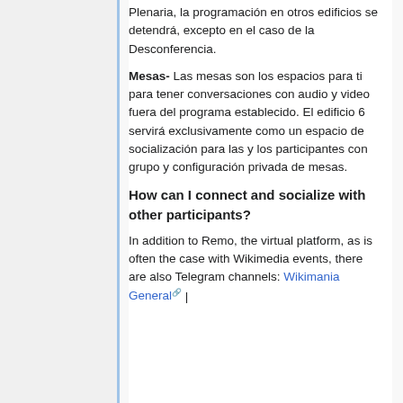Plenaria, la programación en otros edificios se detendrá, excepto en el caso de la Desconferencia.
Mesas- Las mesas son los espacios para ti para tener conversaciones con audio y video fuera del programa establecido. El edificio 6 servirá exclusivamente como un espacio de socialización para las y los participantes con grupo y configuración privada de mesas.
How can I connect and socialize with other participants?
In addition to Remo, the virtual platform, as is often the case with Wikimedia events, there are also Telegram channels: Wikimania General |